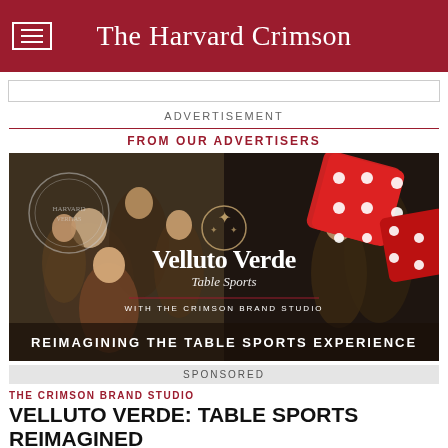The Harvard Crimson
ADVERTISEMENT
FROM OUR ADVERTISERS
[Figure (photo): Advertisement image for Velluto Verde Table Sports featuring vintage-styled group of people around a gaming table with large red dice, the text reads 'Velluto Verde Table Sports WITH THE CRIMSON BRAND STUDIO REIMAGINING THE TABLE SPORTS EXPERIENCE']
SPONSORED
THE CRIMSON BRAND STUDIO
VELLUTO VERDE: TABLE SPORTS REIMAGINED
Velluto Verde is taking a new touch to table sports. A vision that holistically